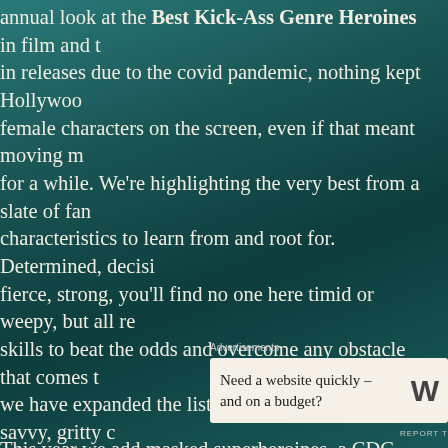annual look at the Best Kick-Ass Genre Heroines in film and t... in releases due to the covid pandemic, nothing kept Hollywo... female characters on the screen, even if that meant moving m... for a while. We're highlighting the very best from a slate of fan... characteristics to learn from and root for.  Determined, decisi... fierce, strong, you'll find no one here timid or weepy, but all re... skills to beat the odds and overcome any obstacle that comes t... we have expanded the list to include any tough, savvy, gritty c... woman, so villains are welcome here, too.  (Want to see previo... heroines to see how 2020 compares?  Here are 2019, 2018, 2017... may be frazzled, put-upon, war-weary, or human, but all have ... difficult circumstances, others against personal demons (litera... and some against gun and laser fire.  And they all showed wha... often badass, character is about.
Advertisements
[Figure (other): Advertisement box: Need a website quickly – and on a budget? with WordPress logo]
This year we add masked superheroines, a CDC epidemiologist...